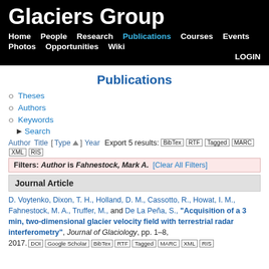Glaciers Group
Home   People   Research   Publications   Courses   Events   Photos   Opportunities   Wiki   LOGIN
Publications
Theses
Authors
Keywords
Search
Author Title [ Type ] Year   Export 5 results:  BibTex  RTF  Tagged  MARC  XML  RIS
Filters: Author is Fahnestock, Mark A.  [Clear All Filters]
Journal Article
D. Voytenko, Dixon, T. H., Holland, D. M., Cassotto, R., Howat, I. M., Fahnestock, M. A., Truffer, M., and De La Peña, S., "Acquisition of a 3 min, two-dimensional glacier velocity field with terrestrial radar interferometry", Journal of Glaciology, pp. 1–8, 2017.